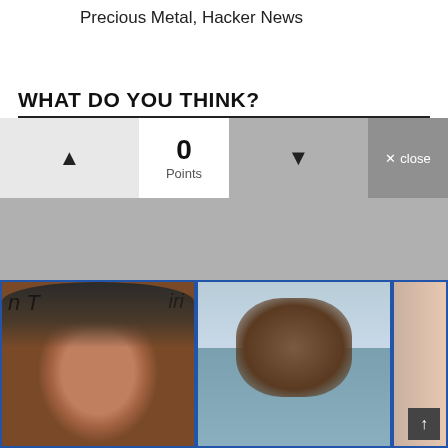Precious Metal, Hacker News
WHAT DO YOU THINK?
[Figure (screenshot): Voting interface with upvote button (triangle up), 0 Points in center, downvote button (triangle down), and X close button]
[Figure (photo): Three photos in a row: a middle-aged man's face, an athlete lying on ground viewed from above, and a partial third image]